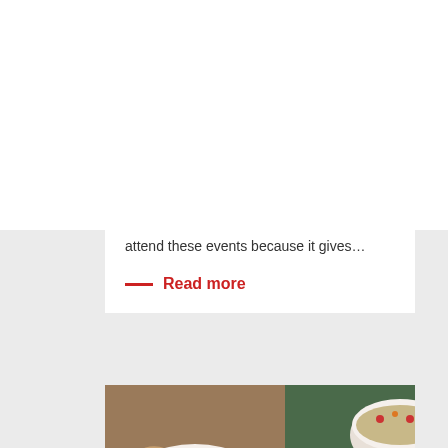Naomi Simson
attend these events because it gives…
Read more
[Figure (photo): Hands holding floral-patterned tea cups and saucer on a table]